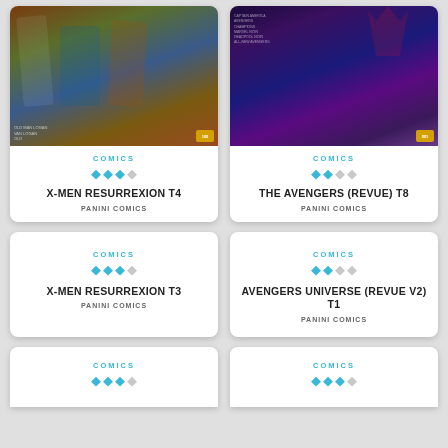[Figure (illustration): Comic book cover for X-Men Resurrexion T4, showing superhero characters in action pose on rocky terrain, Panini Comics]
COMICS
★★★☆☆
X-MEN RESURREXION T4
PANINI COMICS
[Figure (illustration): Comic book cover for The Avengers (Revue) T8, showing heroes in blue/purple tones, Panini Comics]
COMICS
★★☆☆☆
THE AVENGERS (REVUE) T8
PANINI COMICS
COMICS
★★★☆☆
X-MEN RESURREXION T3
PANINI COMICS
COMICS
★★☆☆☆
AVENGERS UNIVERSE (REVUE V2) T1
PANINI COMICS
COMICS
COMICS